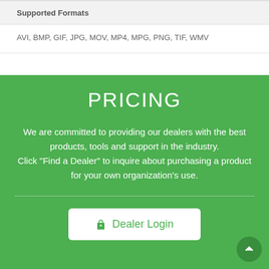Supported Formats
AVI, BMP, GIF, JPG, MOV, MP4, MPG, PNG, TIF, WMV
PRICING
We are committed to providing our dealers with the best products, tools and support in the industry. Click "Find a Dealer" to inquire about purchasing a product for your own organization's use.
Dealer Login